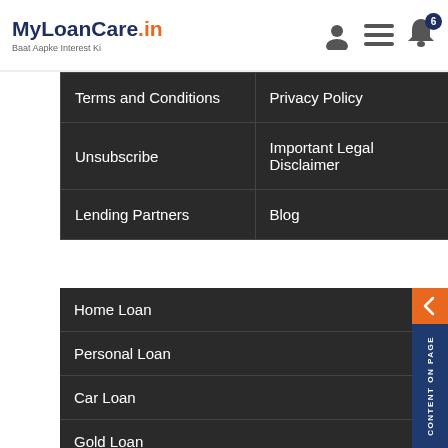MyLoanCare.in - Baat Aapke Interest Ki
| Terms and Conditions | Privacy Policy |
| Unsubscribe | Important Legal Disclaimer |
| Lending Partners | Blog |
Home Loan
Personal Loan
Car Loan
Gold Loan
Loan Against Property
Business Loan
Two Wheeler Loan
Credit Card